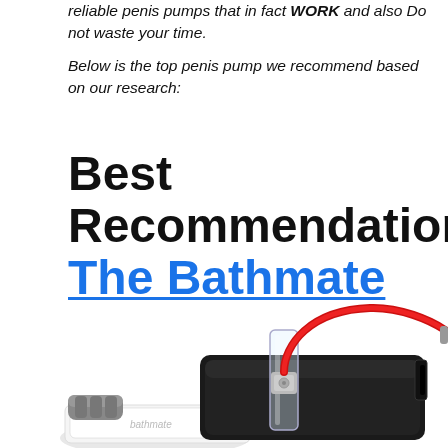reliable penis pumps that in fact WORK and also Do not waste your time.

Below is the top penis pump we recommend based on our research:
Best Recommendation: The Bathmate HydroX
[Figure (photo): Photo of the Bathmate HydroX penis pump product, showing a dark cylindrical pump device with a red hose attached and accessories including a white case and grey component in the foreground.]